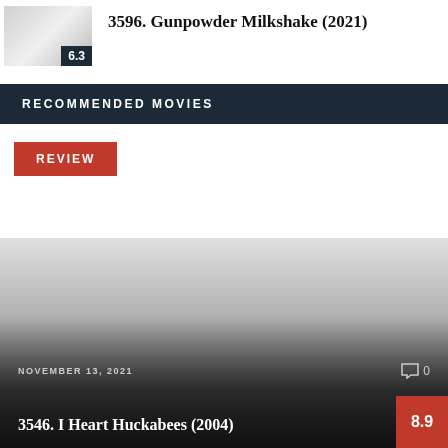[Figure (photo): Movie thumbnail image for Gunpowder Milkshake (2021) with score badge 6.3]
3596. Gunpowder Milkshake (2021)
RECOMMENDED MOVIES
REVIEW
[Figure (photo): Movie card image for I Heart Huckabees (2004) with gradient overlay, date NOVEMBER 13, 2021, comment count 0, and score badge 8.9]
NOVEMBER 13, 2021
3546. I Heart Huckabees (2004)